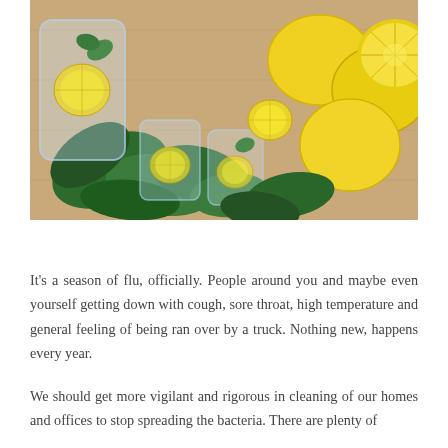[Figure (photo): Overhead photo of lemons, lemon slices, glass jars with lemon water and mint leaves on a wooden surface]
It's a season of flu, officially. People around you and maybe even yourself getting down with cough, sore throat, high temperature and general feeling of being ran over by a truck. Nothing new, happens every year.
We should get more vigilant and rigorous in cleaning of our homes and offices to stop spreading the bacteria. There are plenty of